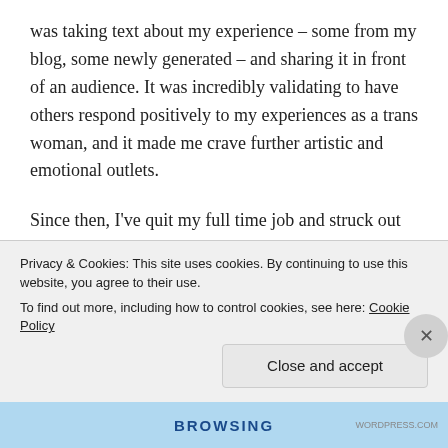was taking text about my experience – some from my blog, some newly generated – and sharing it in front of an audience. It was incredibly validating to have others respond positively to my experiences as a trans woman, and it made me crave further artistic and emotional outlets.
Since then, I've quit my full time job and struck out as an artist and educator. As part of that, I've continued blogging and recently put together some of that written material into a book. The motivation for the book was
Privacy & Cookies: This site uses cookies. By continuing to use this website, you agree to their use.
To find out more, including how to control cookies, see here: Cookie Policy
Close and accept